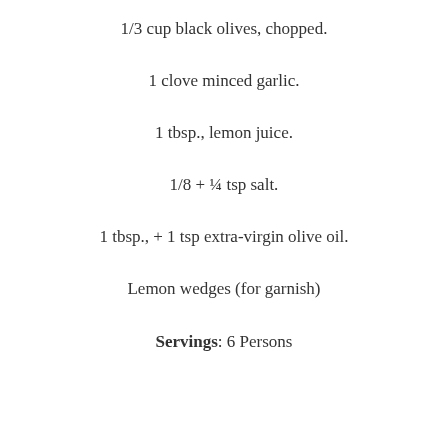1/3 cup black olives, chopped.
1 clove minced garlic.
1 tbsp., lemon juice.
1/8 + ¼ tsp salt.
1 tbsp., + 1 tsp extra-virgin olive oil.
Lemon wedges (for garnish)
Servings: 6 Persons